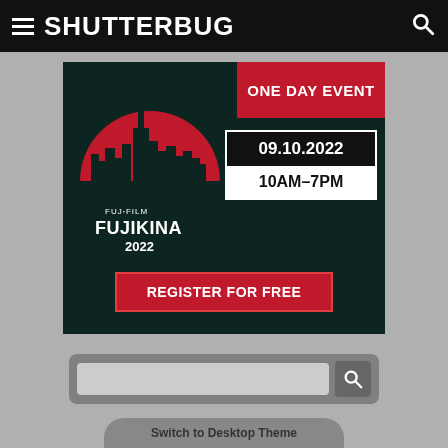SHUTTERBUG
[Figure (infographic): Fujifilm Fujikina 2022 event banner on dark teal background with red semicircle city skyline logo, text: ONE DAY EVENT, 09.10.2022, 10AM-7PM, REGISTER FOR FREE]
Switch to Desktop Theme